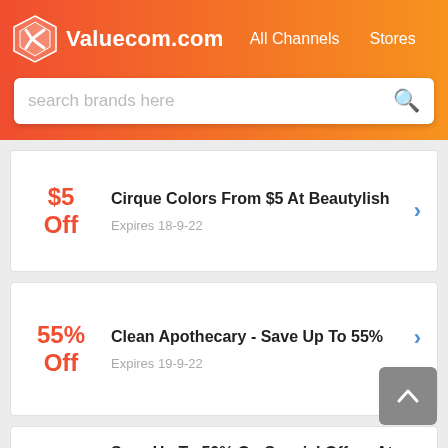Valuecom.com  All Channels  Stores
search brands here
$5 Off — Cirque Colors From $5 At Beautylish — Expires 18-9-22
55% Off — Clean Apothecary - Save Up To 55% — Expires 19-9-22
50% Off — Save Up To 50% On Special Offers At Beautylish